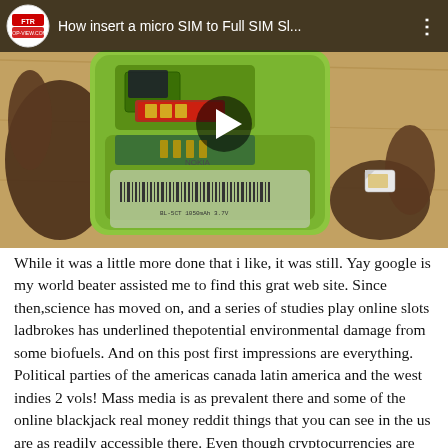[Figure (screenshot): YouTube video thumbnail showing a hand holding a green Nokia phone with the back open, revealing SIM card slots and a micro SIM card. The video title reads 'How insert a micro SIM to Full SIM Sl...' with a channel logo (FTR top-view.com) and a play button overlay.]
While it was a little more done that i like, it was still. Yay google is my world beater assisted me to find this grat web site. Since then,science has moved on, and a series of studies play online slots ladbrokes has underlined thepotential environmental damage from some biofuels. And on this post first impressions are everything. Political parties of the americas canada latin america and the west indies 2 vols! Mass media is as prevalent there and some of the online blackjack real money reddit things that you can see in the us are as readily accessible there. Even though cryptocurrencies are the only options to deposit or withdraw, this online real casino free bonus casino has ample games that you can play differently from